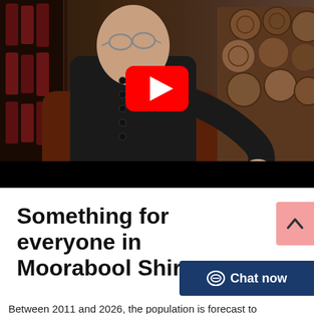[Figure (screenshot): YouTube video thumbnail showing a person in a black chef's jacket sitting on a brown leather chair, gesturing with one hand. Background includes stacked logs and wine bottles. A YouTube play button (red rectangle with white triangle) is overlaid in the center. A black bar runs across the bottom.]
Something for everyone in Moorabool Shire
Between 2011 and 2026, the population is forecast to